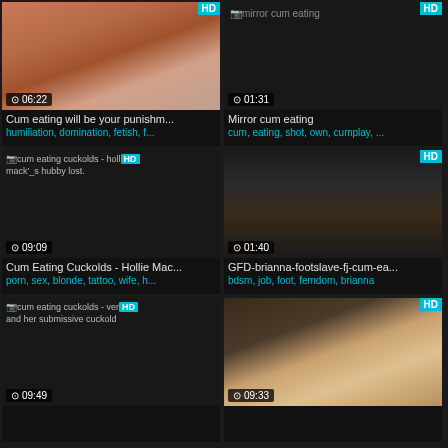[Figure (screenshot): Video thumbnail: two women, redhead and brunette, facing camera. Duration 06:22, HD badge.]
Cum eating will be your punishm...
humiliation, domination, fetish, f...
[Figure (screenshot): Video thumbnail: broken image icon 'mirror cum eating', dark background. Duration 01:31, HD badge.]
Mirror cum eating
cum, eating, shot, own, cumplay, ...
[Figure (screenshot): Video thumbnail: broken image 'cum eating cuckolds - holl mack'_s hubby lost.' Duration 09:09, HD badge.]
Cum Eating Cuckolds - Hollie Mac...
porn, sex, blonde, tattoo, wife, h...
[Figure (screenshot): Video thumbnail: dark leather scene. Duration 01:40, HD badge.]
GFD-brianna-footslave-fj-cum-ea...
bdsm, job, foot, femdom, brianna
[Figure (screenshot): Video thumbnail: broken image 'cum eating cuckolds - ver and her submissive cuckold'. Duration 09:49, HD badge.]
cum eating cuckolds - ver... and her submissive cuckold
[Figure (screenshot): Video thumbnail: blonde woman scene. Duration 09:33, HD badge.]